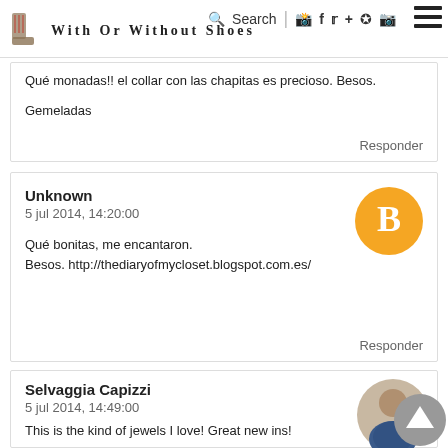With Or Without Shoes — Search | social icons
Qué monadas!! el collar con las chapitas es precioso. Besos.

Gemeladas
Responder
Unknown
5 jul 2014, 14:20:00

Qué bonitas, me encantaron.
Besos. http://thediaryofmycloset.blogspot.com.es/
Responder
Selvaggia Capizzi
5 jul 2014, 14:49:00

This is the kind of jewels I love! Great new ins!